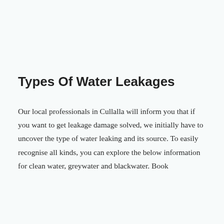Types Of Water Leakages
Our local professionals in Cullalla will inform you that if you want to get leakage damage solved, we initially have to uncover the type of water leaking and its source. To easily recognise all kinds, you can explore the below information for clean water, greywater and blackwater. Book